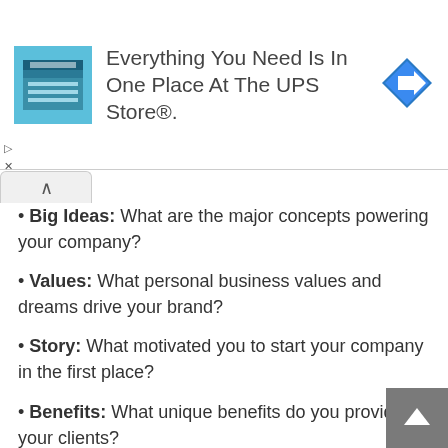[Figure (infographic): UPS Store advertisement banner with store icon, text 'Everything You Need Is In One Place At The UPS Store®.', and blue diamond arrow logo]
Big Ideas: What are the major concepts powering your company?
Values: What personal business values and dreams drive your brand?
Story: What motivated you to start your company in the first place?
Benefits: What unique benefits do you provide your clients?
Emotions: What strong emotion(s) would you like your audience to feel?
Value proposition: Why should customers patronize your brand?